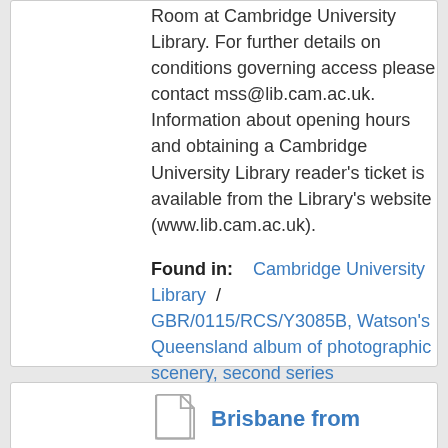Room at Cambridge University Library. For further details on conditions governing access please contact mss@lib.cam.ac.uk. Information about opening hours and obtaining a Cambridge University Library reader's ticket is available from the Library's website (www.lib.cam.ac.uk).
Found in: Cambridge University Library / GBR/0115/RCS/Y3085B, Watson's Queensland album of photographic scenery, second series
Brisbane from